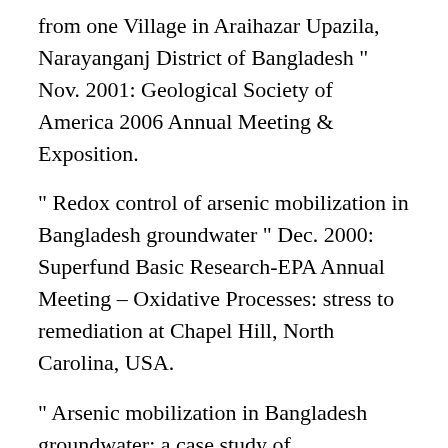from one Village in Araihazar Upazila, Narayanganj District of Bangladesh " Nov. 2001: Geological Society of America 2006 Annual Meeting & Exposition.
" Redox control of arsenic mobilization in Bangladesh groundwater " Dec. 2000: Superfund Basic Research-EPA Annual Meeting – Oxidative Processes: stress to remediation at Chapel Hill, North Carolina, USA.
" Arsenic mobilization in Bangladesh groundwater: a case study of geochemistry and hydrology in Naryanganj and Laximpur district " Aug. 2000: 31st International Geological Congress 2000-'Geology and Sustainable Development Challenges of the